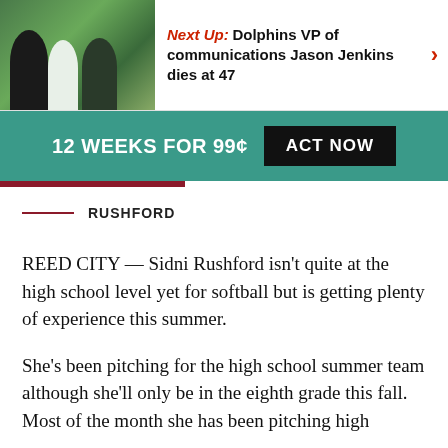[Figure (photo): Sports photo showing three people standing on a green field, likely at a stadium]
Next Up: Dolphins VP of communications Jason Jenkins dies at 47
12 WEEKS FOR 99¢ ACT NOW
RUSHFORD
REED CITY — Sidni Rushford isn't quite at the high school level yet for softball but is getting plenty of experience this summer.
She's been pitching for the high school summer team although she'll only be in the eighth grade this fall. Most of the month she has been pitching high